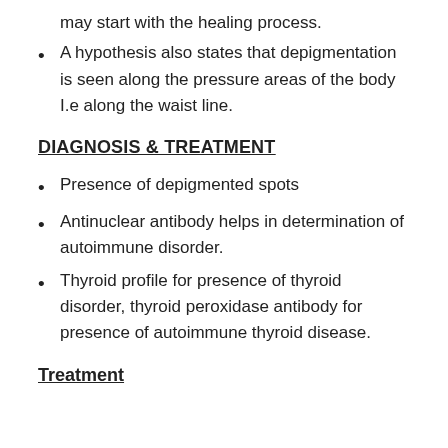may start with the healing process.
A hypothesis also states that depigmentation is seen along the pressure areas of the body I.e along the waist line.
DIAGNOSIS & TREATMENT
Presence of depigmented spots
Antinuclear antibody helps in determination of autoimmune disorder.
Thyroid profile for presence of thyroid disorder, thyroid peroxidase antibody for presence of autoimmune thyroid disease.
Treatment